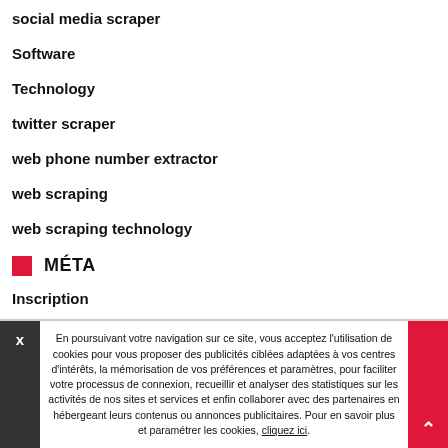social media scraper
Software
Technology
twitter scraper
web phone number extractor
web scraping
web scraping technology
MÉTA
Inscription
Connexion
Flux RSS des articles
En poursuivant votre navigation sur ce site, vous acceptez l'utilisation de cookies pour vous proposer des publicités ciblées adaptées à vos centres d'intérêts, la mémorisation de vos préférences et paramètres, pour faciliter votre processus de connexion, recueillir et analyser des statistiques sur les activités de nos sites et services et enfin collaborer avec des partenaires en hébergeant leurs contenus ou annonces publicitaires. Pour en savoir plus et paramétrer les cookies, cliquez ici.